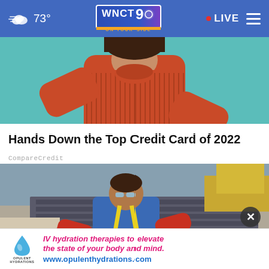☁ 73° | WNCT9 ON YOUR SIDE | • LIVE ≡
[Figure (photo): Cropped photo of a woman with dark hair wearing a red ribbed turtleneck sweater against a teal/mint background]
Hands Down the Top Credit Card of 2022
CompareCredit
[Figure (photo): Worker in blue shirt and yellow safety harness carrying a GAF Timberline HD roofing shingle package on a roof]
IV hydration therapies to elevate the state of your body and mind. www.opulenthydrations.com